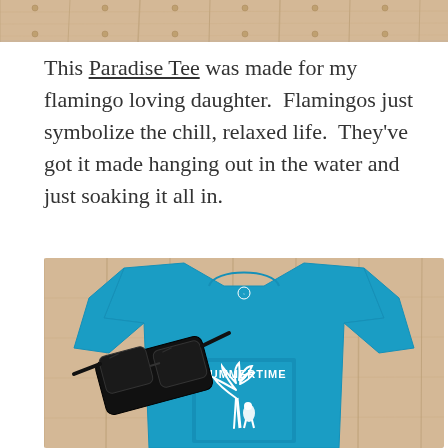[Figure (photo): Top portion of a wooden surface/background photo, cropped at the top edge of the page]
This Paradise Tee was made for my flamingo loving daughter.  Flamingos just symbolize the chill, relaxed life.  They've got it made hanging out in the water and just soaking it all in.
[Figure (photo): A bright blue t-shirt with a white 'SUMMERTIME' graphic featuring a palm tree and flamingo, laid flat on a wooden surface with a pair of black sunglasses placed on top]